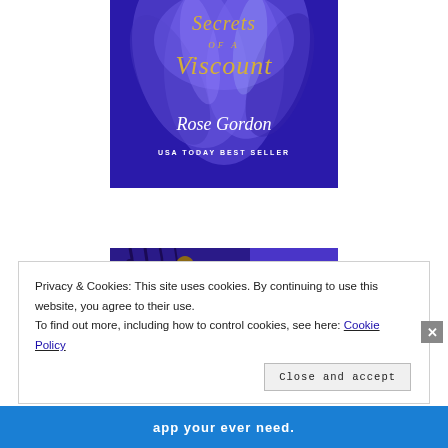[Figure (illustration): Book cover for 'Secrets of a Viscount' by Rose Gordon, USA Today Best Seller. Blue background with feathers motif, gold italic title text, white author name in script.]
[Figure (illustration): Second book cover image showing a woman in a red corset dress against a blue ironwork background, with text 'Gentlemen of Honor Book Two' on the right side.]
Privacy & Cookies: This site uses cookies. By continuing to use this website, you agree to their use. To find out more, including how to control cookies, see here: Cookie Policy
Close and accept
app your ever need.